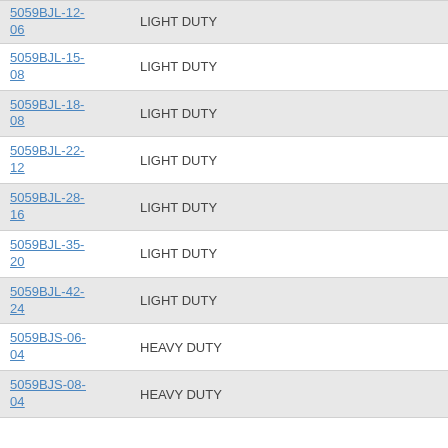5059BJL-12-06  LIGHT DUTY
5059BJL-15-08  LIGHT DUTY
5059BJL-18-08  LIGHT DUTY
5059BJL-22-12  LIGHT DUTY
5059BJL-28-16  LIGHT DUTY
5059BJL-35-20  LIGHT DUTY
5059BJL-42-24  LIGHT DUTY
5059BJS-06-04  HEAVY DUTY
5059BJS-08-04  HEAVY DUTY